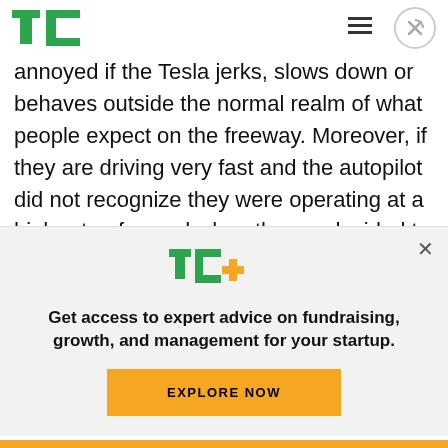TechCrunch logo, hamburger menu, close button
annoyed if the Tesla jerks, slows down or behaves outside the normal realm of what people expect on the freeway. Moreover, if they are driving very fast and the autopilot did not recognize they were operating at a high rate of speed when the car decided to make the lane change, then that other driver can get annoyed. We can all relate to driving 75 mph in the fast lane, only to have someone
[Figure (logo): TC+ logo — TechCrunch green TC monogram with a yellow plus sign]
Get access to expert advice on fundraising, growth, and management for your startup.
EXPLORE NOW